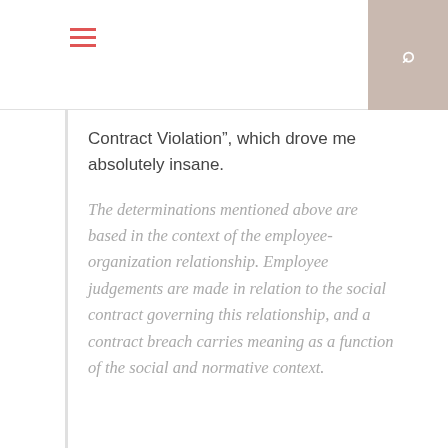Contract Violation”, which drove me absolutely insane.
The determinations mentioned above are based in the context of the employee-organization relationship. Employee judgements are made in relation to the social contract governing this relationship, and a contract breach carries meaning as a function of the social and normative context.